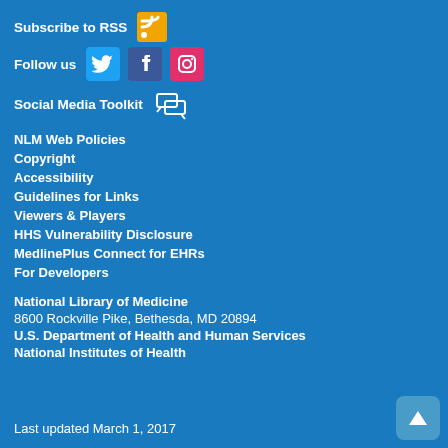Subscribe to RSS
[Figure (logo): RSS orange icon]
Follow us
[Figure (logo): Twitter, Facebook, Instagram social media icons]
Social Media Toolkit
[Figure (logo): Speech bubbles social media toolkit icon]
NLM Web Policies
Copyright
Accessibility
Guidelines for Links
Viewers & Players
HHS Vulnerability Disclosure
MedlinePlus Connect for EHRs
For Developers
National Library of Medicine
8600 Rockville Pike, Bethesda, MD 20894
U.S. Department of Health and Human Services
National Institutes of Health
Last updated March 1, 2017